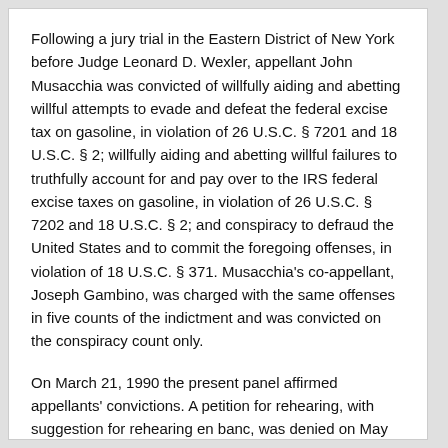Following a jury trial in the Eastern District of New York before Judge Leonard D. Wexler, appellant John Musacchia was convicted of willfully aiding and abetting willful attempts to evade and defeat the federal excise tax on gasoline, in violation of 26 U.S.C. § 7201 and 18 U.S.C. § 2; willfully aiding and abetting willful failures to truthfully account for and pay over to the IRS federal excise taxes on gasoline, in violation of 26 U.S.C. § 7202 and 18 U.S.C. § 2; and conspiracy to defraud the United States and to commit the foregoing offenses, in violation of 18 U.S.C. § 371. Musacchia's co-appellant, Joseph Gambino, was charged with the same offenses in five counts of the indictment and was convicted on the conspiracy count only.
On March 21, 1990 the present panel affirmed appellants' convictions. A petition for rehearing, with suggestion for rehearing en banc, was denied on May 24, 1990.
With commendable candor the Department of Justice on July 18, 1990 moved for a partial remand to vacate appellant Musacchia's convictions. Although the issue was not raised in the briefs the government advises that after further study and consultation with the Internal Revenue Service it is now convinced that § 7202 does